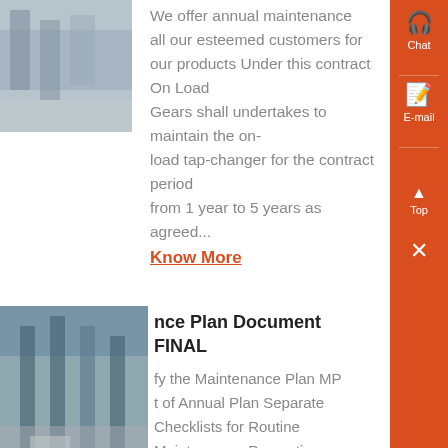[Figure (photo): Industrial equipment photo, grayscale, top-left card]
We offer annual maintenance all our esteemed customers for our products Under this contract On Load Gears shall undertakes to maintain the on-load tap-changer for the contract period from 1 year to 5 years as agreed...
Know More
nce Plan Document FINAL
[Figure (photo): Industrial factory interior photo, second card]
fy the Maintenance Plan MP t of Annual Plan Separate Checklists for Routine Maintenance, Preventive Maintenance and
Chat
E-mail
Top
Get a Quote
WhatsApp